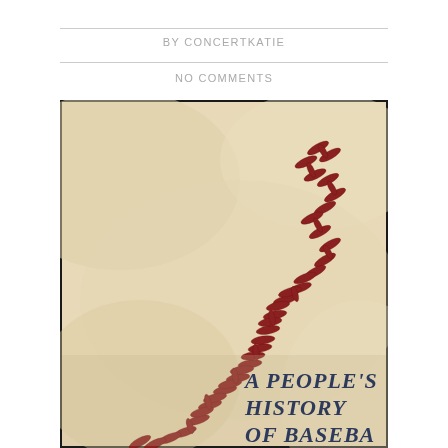BY CONCERTKATIE
NO COMMENTS
[Figure (illustration): Close-up photograph of a baseball showing red stitching on a cream/beige leather surface. In the lower right portion of the image, dark blue italic text reads 'A PEOPLE'S HISTORY OF BASEBALL' (partially visible).]